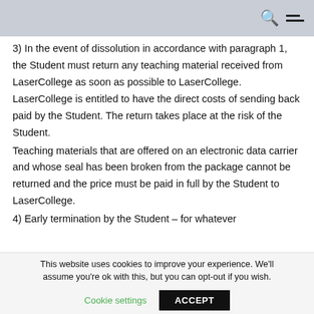3) In the event of dissolution in accordance with paragraph 1, the Student must return any teaching material received from LaserCollege as soon as possible to LaserCollege. LaserCollege is entitled to have the direct costs of sending back paid by the Student. The return takes place at the risk of the Student.
Teaching materials that are offered on an electronic data carrier and whose seal has been broken from the package cannot be returned and the price must be paid in full by the Student to LaserCollege.
4) Early termination by the Student – for whatever
This website uses cookies to improve your experience. We'll assume you're ok with this, but you can opt-out if you wish. Cookie settings ACCEPT